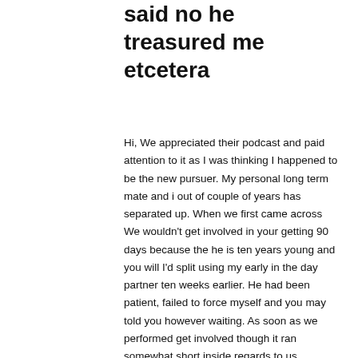said no he treasured me etcetera
Hi, We appreciated their podcast and paid attention to it as I was thinking I happened to be the new pursuer. My personal long term mate and i out of couple of years has separated up. When we first came across We wouldn't get involved in your getting 90 days because the he is ten years young and you will I'd split using my early in the day partner ten weeks earlier. He had been patient, failed to force myself and you may told you however waiting. As soon as we performed get involved though it ran somewhat short inside regards to us declaring like etcetera and i also voiced my concerns about that to help you your. In the beginning the guy opened up to me one to he'd had his heart-broken twice, just